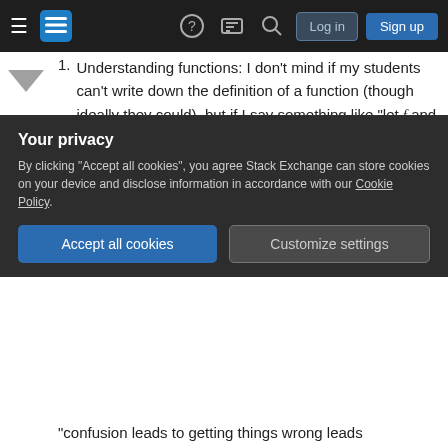Stack Exchange navigation bar with hamburger menu, logo, help, chat, search, Log in, Sign up buttons
1. Understanding functions: I don't mind if my students can't write down the definition of a function (though ideally they could), but if I say something like "let f and g be functions," they shouldn't be horrifically confused. Similarly, if I ask very basic questions about functions (e.g. if f is a function from the reals to the reals, and x is a number, what type of thing is f(x)?), I expect they will have at least a nose for the answer.
2. An openness to being confused. Many students
Your privacy
By clicking "Accept all cookies", you agree Stack Exchange can store cookies on your device and disclose information in accordance with our Cookie Policy.
"confusion leads to getting things wrong leads